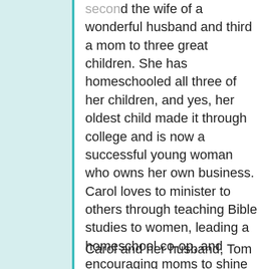second the wife of a wonderful husband and third a mom to three great children. She has homeschooled all three of her children, and yes, her oldest child made it through college and is now a successful young woman who owns her own business. Carol loves to minister to others through teaching Bible studies to women, leading a homeschool co-op, and encouraging moms to shine Christ's love and joy to their families in the midst of the difficulties of life.
Carol and her husband, Tom